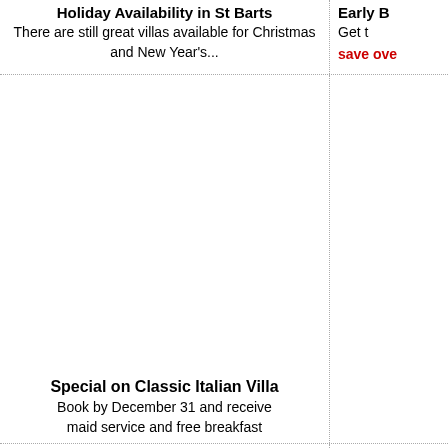Holiday Availability in St Barts
There are still great villas available for Christmas and New Year's...
Early B
Get t
save ove
[Figure (photo): Photo placeholder for Classic Italian Villa]
Special on Classic Italian Villa
Book by December 31 and receive maid service and free breakfast
[Figure (photo): Right column image placeholder (middle section)]
[Figure (photo): Bottom left photo placeholder with blue border]
Our Clients
"We had another FUN. Villa was in housekeeper wa more time enjoyi you recommend